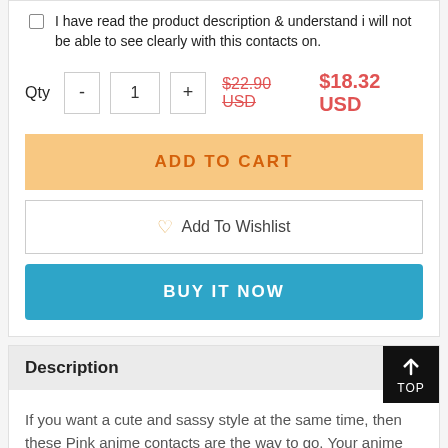I have read the product description & understand i will not be able to see clearly with this contacts on.
Qty  -  1  +  $22.90 USD  $18.32 USD
ADD TO CART
Add To Wishlist
BUY IT NOW
Description
If you want a cute and sassy style at the same time, then these Pink anime contacts are the way to go. Your anime fancies might become a reality with these sweetly authentic anime Pink colored contacts. This pair of Anime Pink contacts have an